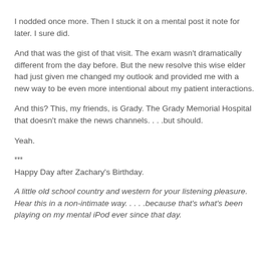I nodded once more. Then I stuck it on a mental post it note for later. I sure did.
And that was the gist of that visit. The exam wasn't dramatically different from the day before. But the new resolve this wise elder had just given me changed my outlook and provided me with a new way to be even more intentional about my patient interactions.
And this? This, my friends, is Grady. The Grady Memorial Hospital that doesn't make the news channels. . . .but should.
Yeah.
***
Happy Day after Zachary's Birthday.
A little old school country and western for your listening pleasure. Hear this in a non-intimate way. . . . .because that's what's been playing on my mental iPod ever since that day.